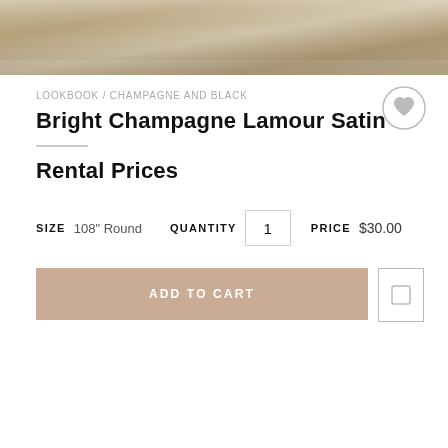[Figure (photo): Cropped product photo showing champagne/gold satin fabric texture at the top of the page]
LOOKBOOK / CHAMPAGNE AND BLACK
Bright Champagne Lamour Satin
Rental Prices
SIZE  108" Round   QUANTITY  1   PRICE  $30.00
ADD TO CART